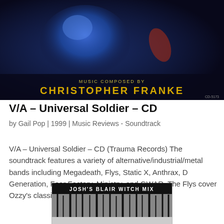[Figure (photo): Album cover for V/A Universal Soldier CD. Dark blue background with a blue-lit figure, text 'MUSIC COMPOSED BY' and 'CHRISTOPHER FRANKE' in yellow letters.]
V/A – Universal Soldier – CD
by Gail Pop | 1999 | Music Reviews - Soundtrack
V/A – Universal Soldier – CD (Trauma Records) The soundtrack features a variety of alternative/industrial/metal bands including Megadeath, Flys, Static X, Anthrax, D Generation, Fear Factory, Ministry, and GWAR. The Flys cover Ozzy's classic Crazy...
[Figure (photo): Partial album cover for Josh's Blair Witch Mix. Black and white image with text 'JOSH'S BLAIR WITCH MIX' and bare trees in background.]